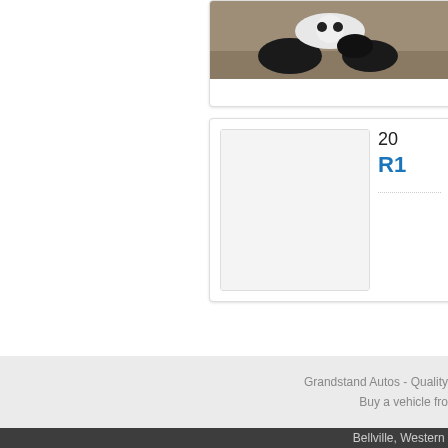[Figure (photo): Partial photo of a vehicle or animal on a gravelly surface, partially cropped at top]
[Figure (photo): Car listing image placeholder - white/gray box]
20
R1
○
○
Grandstand Autos - Quality
Buy a vehicle fro
Bellville, Western